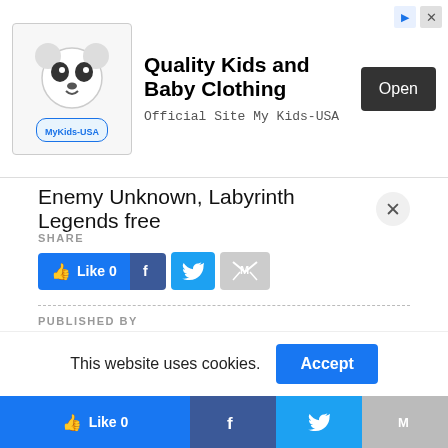[Figure (screenshot): Advertisement banner for MyKids-USA featuring panda logo, bold title 'Quality Kids and Baby Clothing', subtitle 'Official Site My Kids-USA', and an 'Open' button.]
Enemy Unknown, Labyrinth Legends free
SHARE
[Figure (screenshot): Social share buttons: Facebook Like 0, Facebook, Twitter, Gmail]
PUBLISHED BY
Chris Dunlap
TAGS:
This website uses cookies.
[Figure (screenshot): Bottom share bar with Like 0, Facebook, Twitter, Gmail buttons]